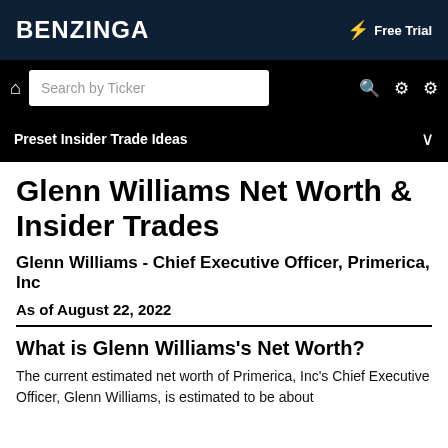BENZINGA | Free Trial
[Figure (screenshot): Search bar with 'Search by Ticker' placeholder and navigation icons on black background]
Preset Insider Trade Ideas
Glenn Williams Net Worth & Insider Trades
Glenn Williams - Chief Executive Officer, Primerica, Inc
As of August 22, 2022
What is Glenn Williams's Net Worth?
The current estimated net worth of Primerica, Inc's Chief Executive Officer, Glenn Williams, is estimated to be about